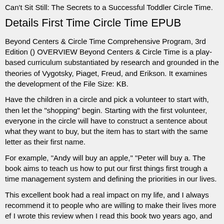Can't Sit Still: The Secrets to a Successful Toddler Circle Time.
Details First Time Circle Time EPUB
Beyond Centers & Circle Time Comprehensive Program, 3rd Edition () OVERVIEW Beyond Centers & Circle Time is a play-based curriculum substantiated by research and grounded in the theories of Vygotsky, Piaget, Freud, and Erikson. It examines the development of the File Size: KB.
Have the children in a circle and pick a volunteer to start with, then let the "shopping" begin. Starting with the first volunteer, everyone in the circle will have to construct a sentence about what they want to buy, but the item has to start with the same letter as their first name.
For example, "Andy will buy an apple," "Peter will buy a. The book aims to teach us how to put our first things first trough a time management system and defining the priorities in our lives.
This excellent book had a real impact on my life, and I always recommend it to people who are willing to make their lives more ef I wrote this review when I read this book two years ago, and it's still up to now /5.